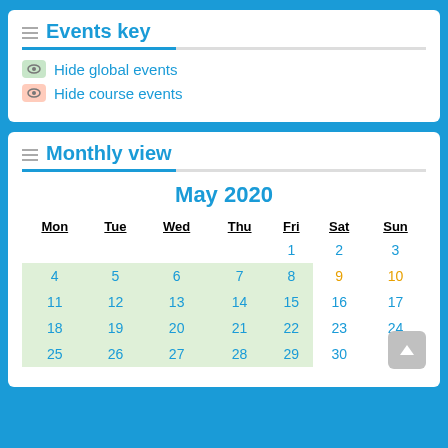Events key
Hide global events
Hide course events
Monthly view
May 2020
| Mon | Tue | Wed | Thu | Fri | Sat | Sun |
| --- | --- | --- | --- | --- | --- | --- |
|  |  |  |  | 1 | 2 | 3 |
| 4 | 5 | 6 | 7 | 8 | 9 | 10 |
| 11 | 12 | 13 | 14 | 15 | 16 | 17 |
| 18 | 19 | 20 | 21 | 22 | 23 | 24 |
| 25 | 26 | 27 | 28 | 29 | 30 | 31 |